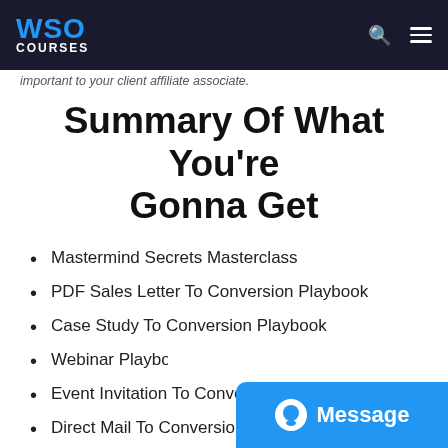WSO COURSES
important to your client affiliate associate.
Summary Of What You're Gonna Get
Mastermind Secrets Masterclass
PDF Sales Letter To Conversion Playbook
Case Study To Conversion Playbook
Webinar Playbook (Live + Evergreen)
Event Invitation To Conversion Playbook
Direct Mail To Conversion Playbook